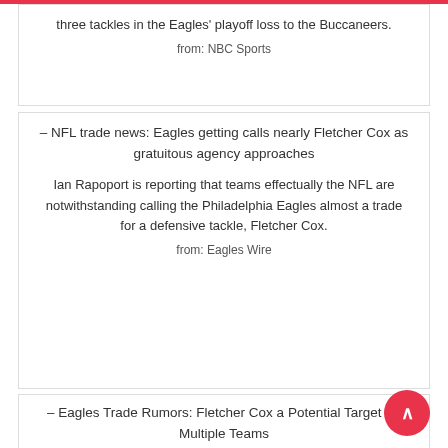three tackles in the Eagles' playoff loss to the Buccaneers.
from: NBC Sports
– NFL trade news: Eagles getting calls nearly Fletcher Cox as gratuitous agency approaches
Ian Rapoport is reporting that teams effectually the NFL are notwithstanding calling the Philadelphia Eagles almost a trade for a defensive tackle, Fletcher Cox.
from: Eagles Wire
– Eagles Trade Rumors: Fletcher Cox a Potential Target for Multiple Teams
Multiple NFL teams take reportedly "connected to take has a call with the Philadelphia Eagles regarding...